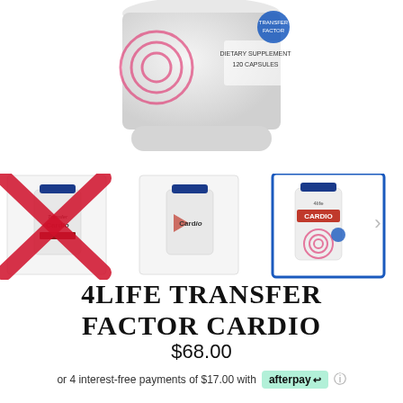[Figure (photo): Close-up of a white supplement bottle with blue cap labeled 'DIETARY SUPPLEMENT 120 CAPSULES' with pink circular logo design, cropped showing bottom half of bottle.]
[Figure (photo): Three product thumbnail images of 4Life Transfer Factor Cardio supplement bottles. Left two show front label with 'Cardio' text, covered by a red X overlay. Third (rightmost) is selected with blue border, showing white bottle with blue cap and Cardio label.]
4LIFE TRANSFER FACTOR CARDIO
$68.00
or 4 interest-free payments of $17.00 with afterpay